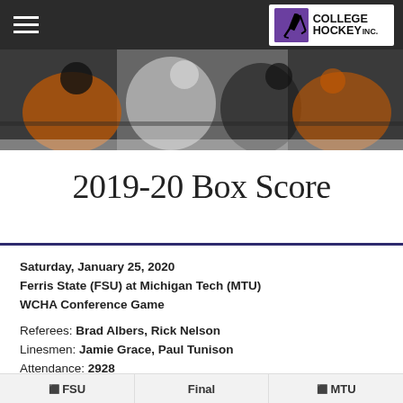College Hockey Inc.
[Figure (photo): Hockey players in orange and black uniforms crowded together near the ice boards]
2019-20 Box Score
Saturday, January 25, 2020
Ferris State (FSU) at Michigan Tech (MTU)
WCHA Conference Game
Referees: Brad Albers, Rick Nelson
Linesmen: Jamie Grace, Paul Tunison
Attendance: 2928
Start Time: 6:07 pm  End Time: 8:17 pm  Total Time: 2:10
New Records: Ferris State 7-18-2, Michigan Tech 14-12-3
FSU  Final  MTU